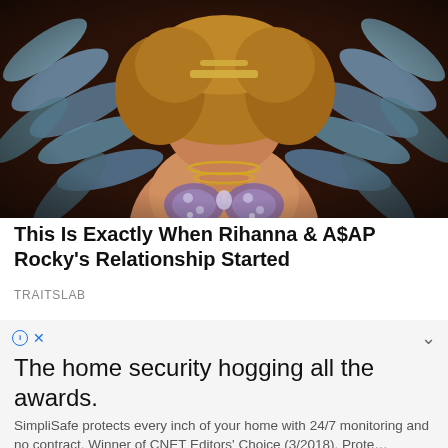[Figure (photo): Photo of a woman wearing a jeweled costume with large blue/teal feathered wings in the background, curly blonde hair, and gold jewelry/necklaces, shot from the torso up against a dark background with feathers.]
This Is Exactly When Rihanna & A$AP Rocky's Relationship Started
TRAITSLAB
The home security hogging all the awards.
SimpliSafe protects every inch of your home with 24/7 monitoring and no contract. Winner of CNET Editors' Choice (3/2018). Prote…
continue